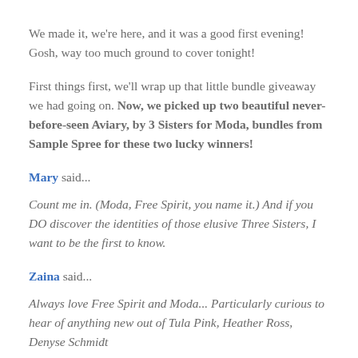We made it, we're here, and it was a good first evening! Gosh, way too much ground to cover tonight!
First things first, we'll wrap up that little bundle giveaway we had going on. Now, we picked up two beautiful never-before-seen Aviary, by 3 Sisters for Moda, bundles from Sample Spree for these two lucky winners!
Mary said...
Count me in. (Moda, Free Spirit, you name it.) And if you DO discover the identities of those elusive Three Sisters, I want to be the first to know.
Zaina said...
Always love Free Spirit and Moda... Particularly curious to hear of anything new out of Tula Pink, Heather Ross, Denyse Schmidt